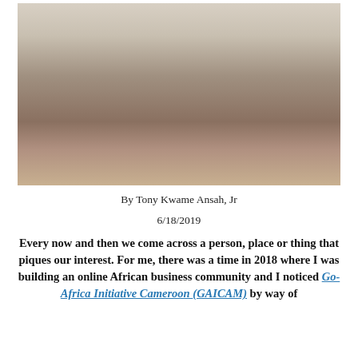[Figure (photo): Group photo of a large gathering of people seated and standing in rows inside a hall, with colorful attire and flags visible in the background.]
By Tony Kwame Ansah, Jr
6/18/2019
Every now and then we come across a person, place or thing that piques our interest. For me, there was a time in 2018 where I was building an online African business community and I noticed Go-Africa Initiative Cameroon (GAICAM) by way of